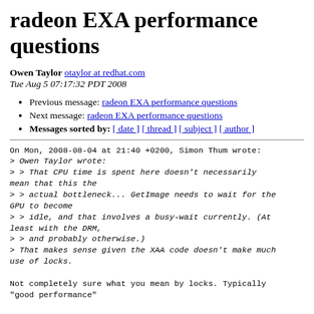radeon EXA performance questions
Owen Taylor otaylor at redhat.com
Tue Aug 5 07:17:32 PDT 2008
Previous message: radeon EXA performance questions
Next message: radeon EXA performance questions
Messages sorted by: [ date ] [ thread ] [ subject ] [ author ]
On Mon, 2008-08-04 at 21:40 +0200, Simon Thum wrote:
> Owen Taylor wrote:
> > That CPU time is spent here doesn't necessarily mean that this the
> > actual bottleneck... GetImage needs to wait for the GPU to become
> > idle, and that involves a busy-wait currently. (At least with the DRM,
> > and probably otherwise.)
> That makes sense given the XAA code doesn't make much use of locks.

Not completely sure what you mean by locks. Typically
"good performance"